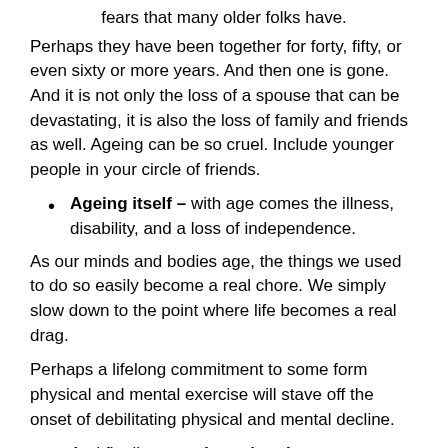fears that many older folks have.
Perhaps they have been together for forty, fifty, or even sixty or more years. And then one is gone. And it is not only the loss of a spouse that can be devastating, it is also the loss of family and friends as well. Ageing can be so cruel. Include younger people in your circle of friends.
Ageing itself – with age comes the illness, disability, and a loss of independence.
As our minds and bodies age, the things we used to do so easily become a real chore. We simply slow down to the point where life becomes a real drag.
Perhaps a lifelong commitment to some form physical and mental exercise will stave off the onset of debilitating physical and mental decline.
And finally, many fear what the government might do to make the lives of